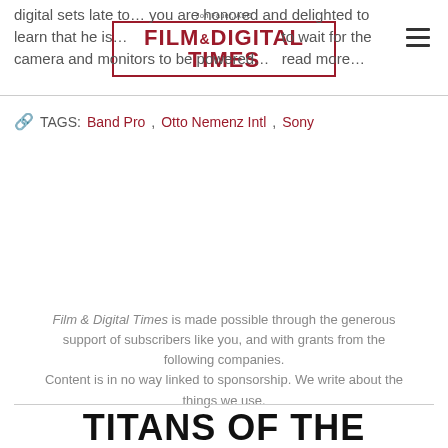Jon Fauer, ASC — Film & Digital Times
digital sets late to... you are honored and delighted to learn that he is... to wait for the camera and monitors to be powered… read more...
TAGS: Band Pro, Otto Nemenz Intl, Sony
Film & Digital Times is made possible through the generous support of subscribers like you, and with grants from the following companies. Content is in no way linked to sponsorship. We write about the things we use.
TITANS OF THE INDUSTRY